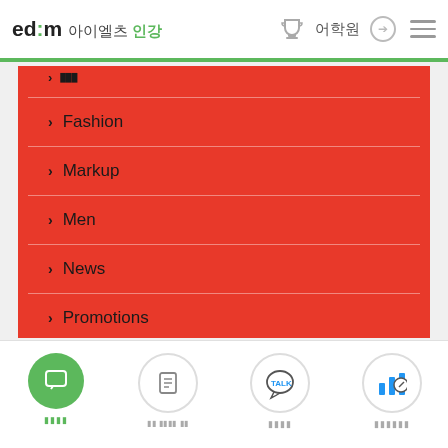ed:m 아이엘츠 인강 | 어학원
> Fashion
> Markup
> Men
> News
> Promotions
> Special Offers
강의 | 나의 강의실 | 고객센터 | 성적분석